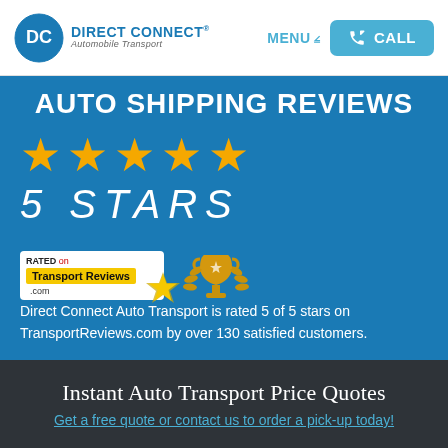[Figure (logo): Direct Connect Automobile Transport logo with DC initials in blue circle]
MENU ∨  CALL
AUTO SHIPPING REVIEWS
[Figure (infographic): 5 gold stars rating, italic white text '5 STARS', Transport Reviews .com badge with star, gold trophy icon, and text: Direct Connect Auto Transport is rated 5 of 5 stars on TransportReviews.com by over 130 satisfied customers.]
Direct Connect Auto Transport is rated 5 of 5 stars on TransportReviews.com by over 130 satisfied customers.
Instant Auto Transport Price Quotes
Get a free quote or contact us to order a pick-up today!